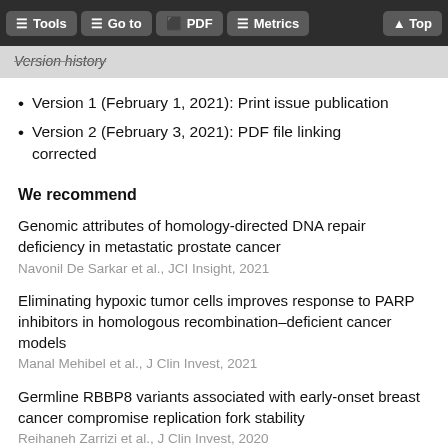Tools | Go to | PDF | Metrics | Top
Version history
Version 1 (February 1, 2021): Print issue publication
Version 2 (February 3, 2021): PDF file linking corrected
We recommend
Genomic attributes of homology-directed DNA repair deficiency in metastatic prostate cancer
Navonil De Sarkar et al., JCI Insight, 2021
Eliminating hypoxic tumor cells improves response to PARP inhibitors in homologous recombination–deficient cancer models
Manal Mehibel et al., J Clin Invest, 2021
Germline RBBP8 variants associated with early-onset breast cancer compromise replication fork stability
Reihaneh Zarrizi et al., J Clin Invest, 2020